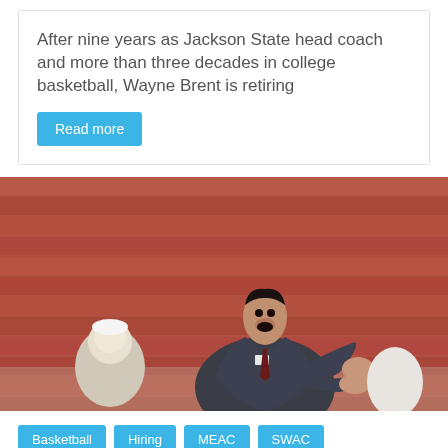After nine years as Jackson State head coach and more than three decades in college basketball, Wayne Brent is retiring
Read more
[Figure (photo): A basketball coach in a dark suit clapping his hands on the sideline, with red brick stadium bleachers in the background and other people visible around him.]
Basketball
Hiring
MEAC
SWAC